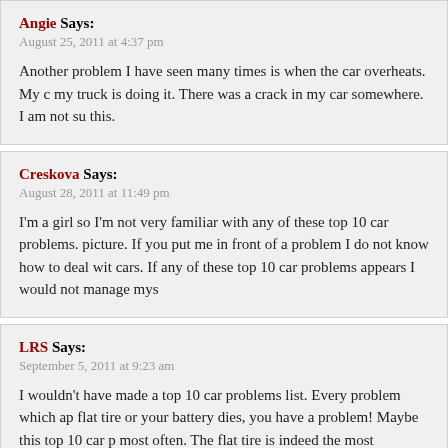Angie Says:
August 25, 2011 at 4:37 pm
Another problem I have seen many times is when the car overheats. My c my truck is doing it. There was a crack in my car somewhere. I am not su this.
Creskova Says:
August 28, 2011 at 11:49 pm
I'm a girl so I'm not very familiar with any of these top 10 car problems. picture. If you put me in front of a problem I do not know how to deal wit cars. If any of these top 10 car problems appears I would not manage mys
LRS Says:
September 5, 2011 at 9:23 am
I wouldn't have made a top 10 car problems list. Every problem which ap flat tire or your battery dies, you have a problem! Maybe this top 10 car p most often. The flat tire is indeed the most common but it is easy to fix.